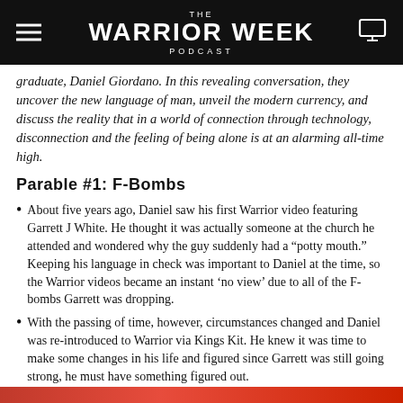THE WARRIOR WEEK PODCAST
graduate, Daniel Giordano. In this revealing conversation, they uncover the new language of man, unveil the modern currency, and discuss the reality that in a world of connection through technology, disconnection and the feeling of being alone is at an alarming all-time high.
Parable #1: F-Bombs
About five years ago, Daniel saw his first Warrior video featuring Garrett J White. He thought it was actually someone at the church he attended and wondered why the guy suddenly had a “potty mouth.” Keeping his language in check was important to Daniel at the time, so the Warrior videos became an instant ‘no view’ due to all of the F-bombs Garrett was dropping.
With the passing of time, however, circumstances changed and Daniel was re-introduced to Warrior via Kings Kit. He knew it was time to make some changes in his life and figured since Garrett was still going strong, he must have something figured out.